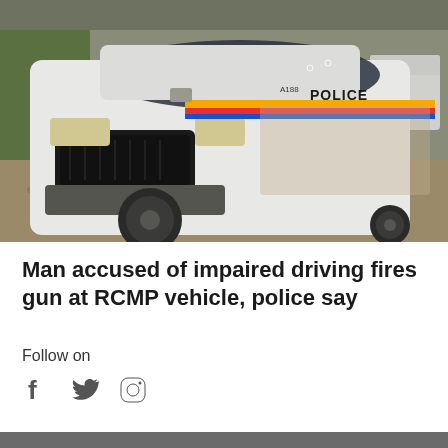[Figure (photo): A white RCMP police SUV (Ford Explorer) parked on a gravel surface. The vehicle has the RCMP stripe and 'POLICE' lettering on the side. There are visible bullet holes in the windshield area. Trees and another vehicle visible in the background.]
Man accused of impaired driving fires gun at RCMP vehicle, police say
Follow on
[Figure (infographic): Social media icons: Facebook (f), Twitter (bird), Instagram (camera)]